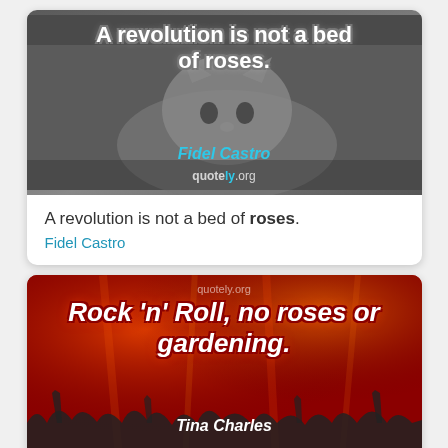[Figure (photo): Quote card with cat photo background (grayscale cat lounging). White text: 'A revolution is not a bed of roses.' with cyan italic attribution 'Fidel Castro'. Watermark 'quotely.org' at bottom.]
A revolution is not a bed of roses.
Fidel Castro
[Figure (photo): Quote card with red-toned concert crowd photo background. White bold italic text: 'Rock 'n' Roll, no roses or gardening.' with white italic attribution 'Tina Charles'. Watermark 'quotely.org' at top.]